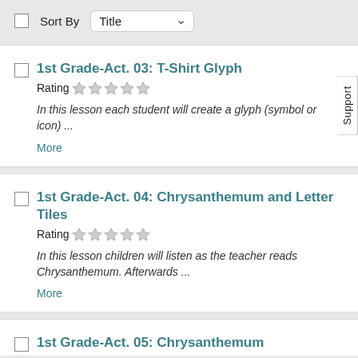Sort By Title
1st Grade-Act. 03: T-Shirt Glyph
Rating ☆☆☆☆☆
In this lesson each student will create a glyph (symbol or icon) ...
More
1st Grade-Act. 04: Chrysanthemum and Letter Tiles
Rating ☆☆☆☆☆
In this lesson children will listen as the teacher reads Chrysanthemum. Afterwards ...
More
1st Grade-Act. 05: Chrysanthemum